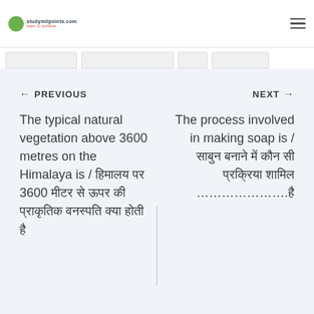studymilpoints.com navigation header
← PREVIOUS
NEXT →
The typical natural vegetation above 3600 metres on the Himalaya is / हिमालय पर 3600 मीटर से ऊपर की प्राकृतिक वनस्पति क्या होती है
The process involved in making soap is / साबुन बनाने में कौन सी प्रक्रिया शामिल ………………….है